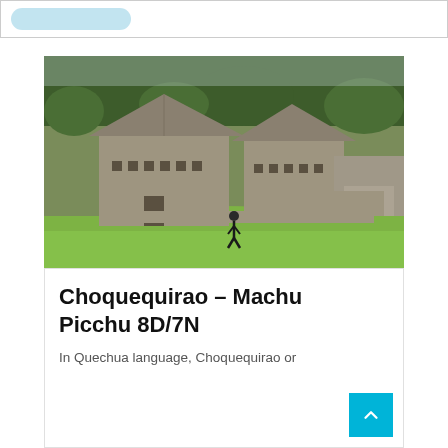[Figure (logo): Partial header bar with a blurred/colored logo shape in light blue]
[Figure (photo): Photograph of ancient Inca stone ruins at Choquequirao with green grass courtyard and a person walking in the foreground, stone buildings with triangular gabled roofs in the background, surrounded by trees]
Choquequirao – Machu Picchu 8D/7N
In Quechua language, Choquequirao or